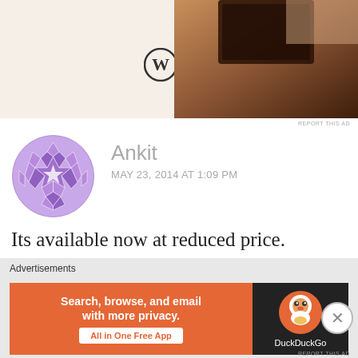[Figure (screenshot): Top portion of a WordPress advertisement banner with logo and laptop image on tan/brown background]
REPORT THIS AD
[Figure (illustration): Purple geometric/quilt pattern avatar icon for user Ankit]
Ankit
MAY 23, 2014 AT 1:09 PM
Its available now at reduced price.
★ Like
REPLY
Advertisements
[Figure (screenshot): DuckDuckGo advertisement banner: orange background with text 'Search, browse, and email with more privacy. All in One Free App' and DuckDuckGo logo on black background]
REPORT THIS AD